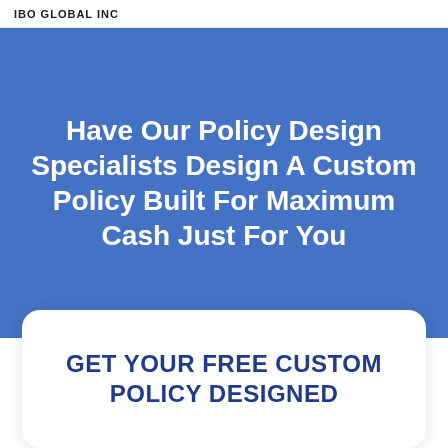IBO GLOBAL INC
Have Our Policy Design Specialists Design A Custom Policy Built For Maximum Cash Just For You
GET YOUR FREE CUSTOM POLICY DESIGNED